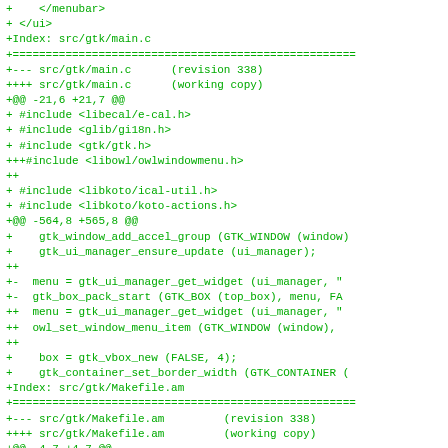+    </menubar>
+ </ui>
+Index: src/gtk/main.c
+==============================
+--- src/gtk/main.c      (revision 338)
++++ src/gtk/main.c      (working copy)
+@@ -21,6 +21,7 @@
+ #include <libecal/e-cal.h>
+ #include <glib/gi18n.h>
+ #include <gtk/gtk.h>
+++#include <libowl/owlwindowmenu.h>
++
+ #include <libkoto/ical-util.h>
+ #include <libkoto/koto-actions.h>
++@@ -564,8 +565,8 @@
++    gtk_window_add_accel_group (GTK_WINDOW (window)
++    gtk_ui_manager_ensure_update (ui_manager);
+++
++-  menu = gtk_ui_manager_get_widget (ui_manager, "
++-  gtk_box_pack_start (GTK_BOX (top_box), menu, FA
++++  menu = gtk_ui_manager_get_widget (ui_manager, "
++++  owl_set_window_menu_item (GTK_WINDOW (window),
+++
++    box = gtk_vbox_new (FALSE, 4);
++    gtk_container_set_border_width (GTK_CONTAINER (
++Index: src/gtk/Makefile.am
++==============================
++--- src/gtk/Makefile.am         (revision 338)
++++++ src/gtk/Makefile.am         (working copy)
+++@@ -4,7 +4,7 @@